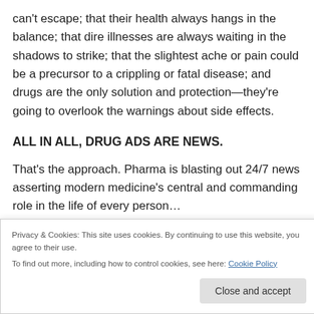can't escape; that their health always hangs in the balance; that dire illnesses are always waiting in the shadows to strike; that the slightest ache or pain could be a precursor to a crippling or fatal disease; and drugs are the only solution and protection—they're going to overlook the warnings about side effects.
ALL IN ALL, DRUG ADS ARE NEWS.
That's the approach. Pharma is blasting out 24/7 news asserting modern medicine's central and commanding role in the life of every person.
Privacy & Cookies: This site uses cookies. By continuing to use this website, you agree to their use.
To find out more, including how to control cookies, see here: Cookie Policy